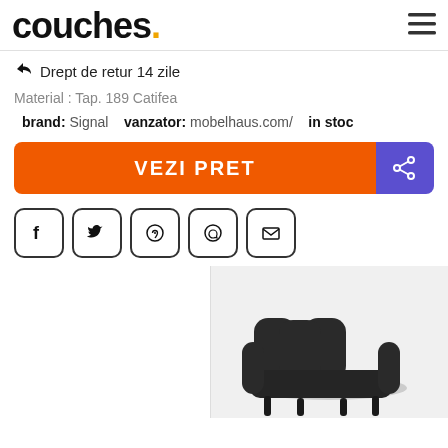couches.
Drept de retur 14 zile
Material : Tap. 189 Catifea
brand: Signal   vanzator: mobelhaus.com/   in stoc
[Figure (other): Orange button with text VEZI PRET and purple share icon button]
[Figure (other): Social sharing icons: Facebook, Twitter, Pinterest, WhatsApp, Email]
[Figure (photo): Two product images of a dark charcoal velvet armchair/sofa on a light background]